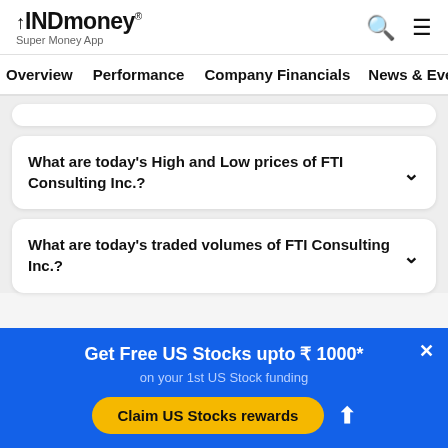INDmoney® Super Money App
Overview  Performance  Company Financials  News & Events
What are today's High and Low prices of FTI Consulting Inc.?
What are today's traded volumes of FTI Consulting Inc.?
Get Free US Stocks upto ₹ 1000*
on your 1st US Stock funding
Claim US Stocks rewards